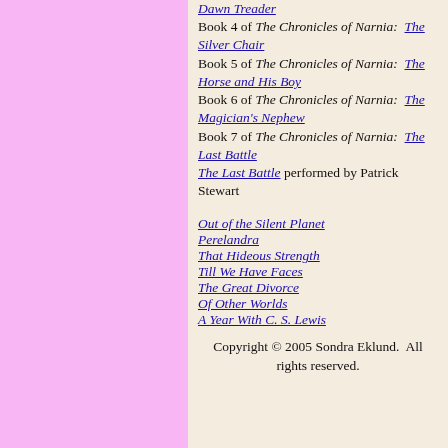Dawn Treader Book 4 of The Chronicles of Narnia: The Silver Chair Book 5 of The Chronicles of Narnia: The Horse and His Boy Book 6 of The Chronicles of Narnia: The Magician's Nephew Book 7 of The Chronicles of Narnia: The Last Battle The Last Battle performed by Patrick Stewart
Out of the Silent Planet
Perelandra
That Hideous Strength
Till We Have Faces
The Great Divorce
Of Other Worlds
A Year With C. S. Lewis
Copyright © 2005 Sondra Eklund.  All rights reserved.